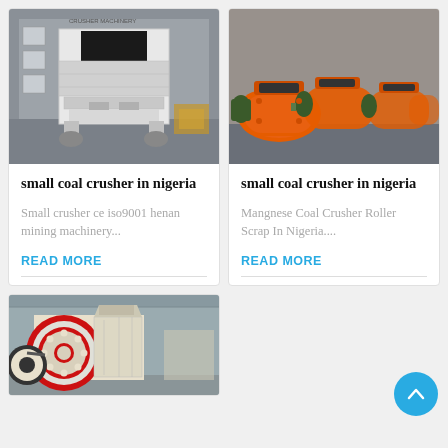[Figure (photo): White industrial hammer crusher machine in a factory warehouse]
[Figure (photo): Orange manganese coal crusher rollers lined up in a factory]
small coal crusher in nigeria
Small crusher ce iso9001 henan mining machinery...
READ MORE
small coal crusher in nigeria
Mangnese Coal Crusher Roller Scrap In Nigeria....
READ MORE
[Figure (photo): Jaw crusher machine with red flywheel in a factory]